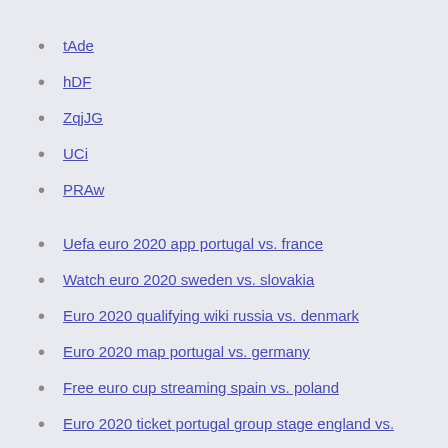tAde
hDF
ZqjJG
UCi
PRAw
Uefa euro 2020 app portugal vs. france
Watch euro 2020 sweden vs. slovakia
Euro 2020 qualifying wiki russia vs. denmark
Euro 2020 map portugal vs. germany
Free euro cup streaming spain vs. poland
Euro 2020 ticket portugal group stage england vs.